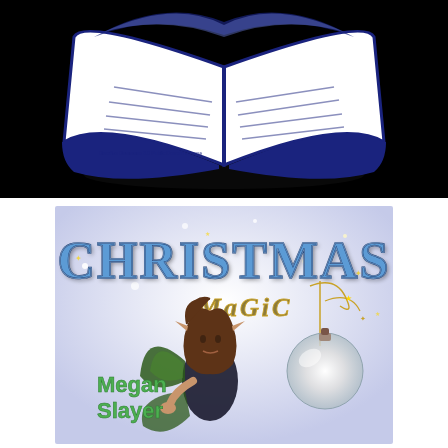[Figure (illustration): A blue and white illustrated open book logo on a black background, with text reading 'Creative Commons 3.0 Public Domain License' on the book pages]
[Figure (illustration): Book cover for 'Christmas Magic' by Megan Slayer, featuring stylized blue letter title text, golden 'Magic' subtitle, a fairy character with brown hair and green wings holding a silver Christmas ornament, on a sparkly white/silver background with gold decorative elements]